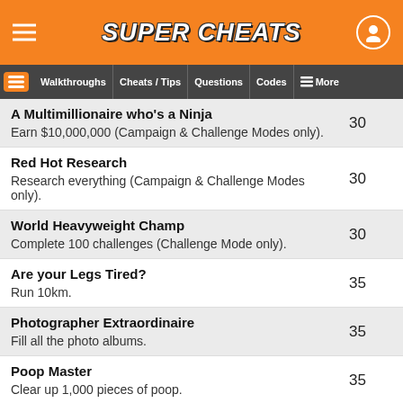SUPER CHEATS
Walkthroughs | Cheats / Tips | Questions | Codes | More
A Multimillionaire who's a Ninja — 30 — Earn $10,000,000 (Campaign & Challenge Modes only).
Red Hot Research — 30 — Research everything (Campaign & Challenge Modes only).
World Heavyweight Champ — 30 — Complete 100 challenges (Challenge Mode only).
Are your Legs Tired? — 35 — Run 10km.
Photographer Extraordinaire — 35 — Fill all the photo albums.
Poop Master — 35 — Clear up 1,000 pieces of poop.
Time for a Tire Change — 35